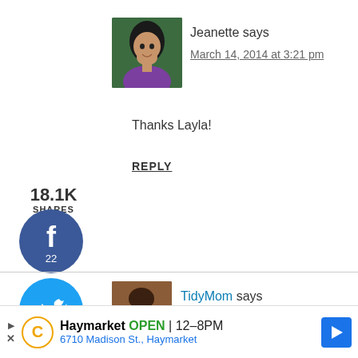[Figure (photo): Avatar photo of Jeanette, woman with dark hair, green background]
Jeanette says
March 14, 2014 at 3:21 pm
Thanks Layla!
REPLY
18.1K SHARES
[Figure (logo): Facebook share button circle, blue with f icon, count 22]
[Figure (logo): Twitter share button circle, light blue with bird icon]
[Figure (logo): Pinterest share button circle, red with P icon, count 18.1K]
[Figure (logo): Yummly share button circle, orange with Yum text]
[Figure (photo): Avatar photo of TidyMom, woman in kitchen]
TidyMom says
March 12, 2014 at 3:27 pm
this sounds fabulous! I'm always looking for new chicken recipes!
Haymarket OPEN 12–8PM 6710 Madison St., Haymarket